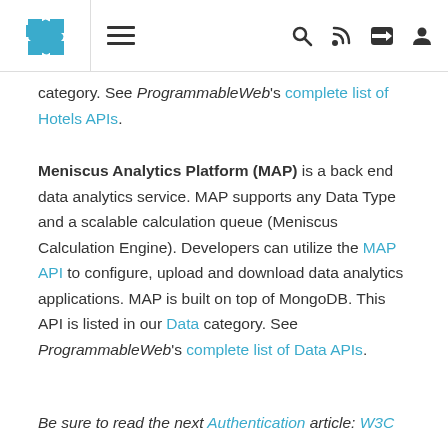[Navigation bar with puzzle logo, hamburger menu, search, RSS, share, and user icons]
category. See ProgrammableWeb's complete list of Hotels APIs.
Meniscus Analytics Platform (MAP) is a back end data analytics service. MAP supports any Data Type and a scalable calculation queue (Meniscus Calculation Engine). Developers can utilize the MAP API to configure, upload and download data analytics applications. MAP is built on top of MongoDB. This API is listed in our Data category. See ProgrammableWeb's complete list of Data APIs.
Be sure to read the next Authentication article: W3C